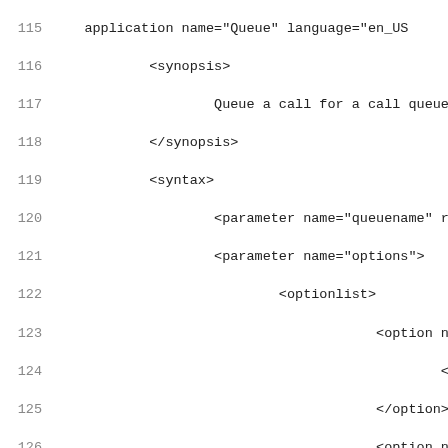Code listing lines 115-147 showing XML syntax for a call queue application with synopsis, syntax, parameters and options elements